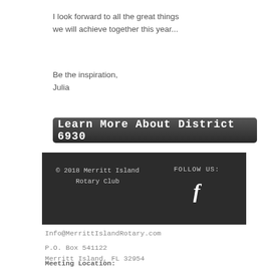I look forward to all the great things we will achieve together this year...
Be the inspiration,
Julia
[Figure (other): Dark button/banner reading 'Learn More About District 6930']
© 2018 Merritt Island Rotary Club | FOLLOW US: [Facebook icon]
Info@MerrittIslandRotary.com
P.O. Box 541122
Merritt Island, FL 32954
Meeting Location:
    Balibar Merritt Island
    110 McLeod Street
    Merritt Island, FL 32952